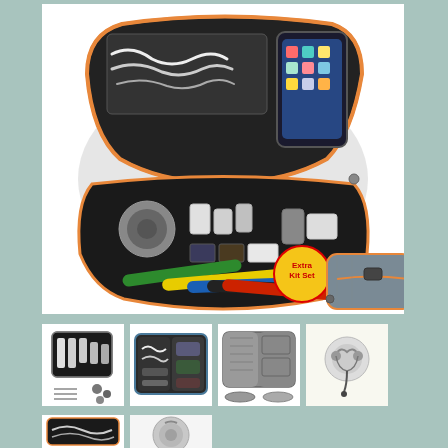[Figure (photo): Electronic accessories organizer case open showing cables, USB drives, earphones, phone and other gadgets organized in mesh pockets. Below the open case are colorful velcro cable ties (green, yellow, blue, black, red) and a closed gray organizer case with orange zipper. A yellow badge reads 'Extra Kit Set'.]
[Figure (photo): Thumbnail 1: Small electronic organizer bag open showing various accessories and tools]
[Figure (photo): Thumbnail 2: Open electronic organizer showing cables and accessories organized in compartments]
[Figure (photo): Thumbnail 3: Gray/blue organizer case open showing empty mesh pockets and compartments]
[Figure (photo): Thumbnail 4: Electronic organizer with cables visible]
[Figure (photo): Partial thumbnail: Bottom of organizer case view]
[Figure (photo): Partial thumbnail: Small accessory or tool view]